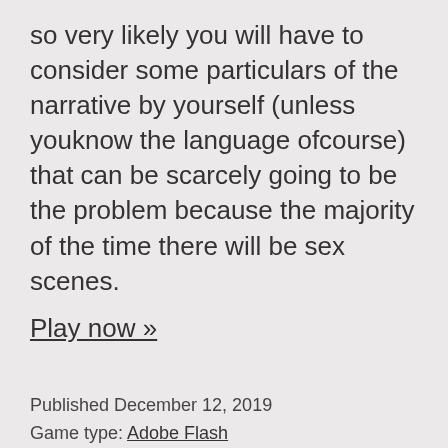so very likely you will have to consider some particulars of the narrative by yourself (unless youknow the language ofcourse) that can be scarcely going to be the problem because the majority of the time there will be sex scenes.
Play now »
Published December 12, 2019
Game type: Adobe Flash
Tagged big tits, blonde, dildo, free sex games, group, hentai, threesome, uniform